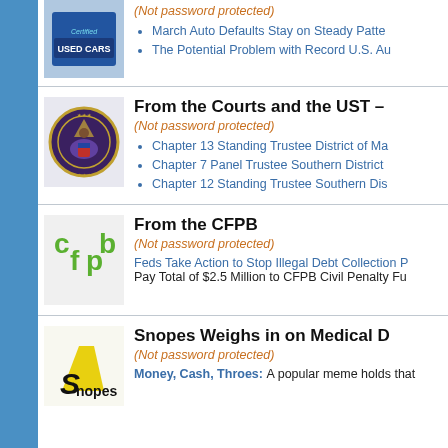[Figure (photo): Certified Used Cars sign]
(Not password protected)
March Auto Defaults Stay on Steady Patte
The Potential Problem with Record U.S. Au
[Figure (logo): US Court seal / Department of Justice eagle seal]
From the Courts and the UST –
(Not password protected)
Chapter 13 Standing Trustee District of Ma
Chapter 7 Panel Trustee Southern District
Chapter 12 Standing Trustee Southern Dis
[Figure (logo): CFPB (Consumer Financial Protection Bureau) logo in green letters]
From the CFPB
(Not password protected)
Feds Take Action to Stop Illegal Debt Collection P
Pay Total of $2.5 Million to CFPB Civil Penalty Fu
[Figure (logo): Snopes logo with yellow highlighter S shape]
Snopes Weighs in on Medical D
(Not password protected)
Money, Cash, Throes: A popular meme holds that